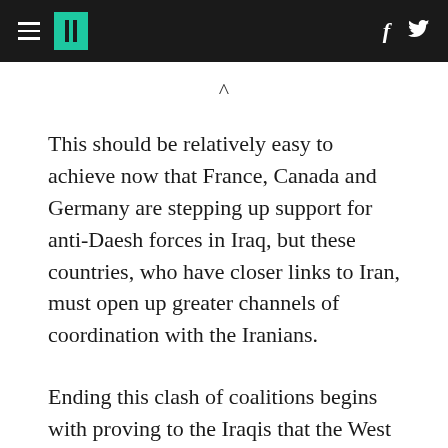HuffPost navigation with hamburger menu, logo, Facebook and Twitter icons
This should be relatively easy to achieve now that France, Canada and Germany are stepping up support for anti-Daesh forces in Iraq, but these countries, who have closer links to Iran, must open up greater channels of coordination with the Iranians.
Ending this clash of coalitions begins with proving to the Iraqis that the West is truly in the fight to destroy Daesh. Therefore, it is galling to know that certain U.S. support for Iraqi forces at